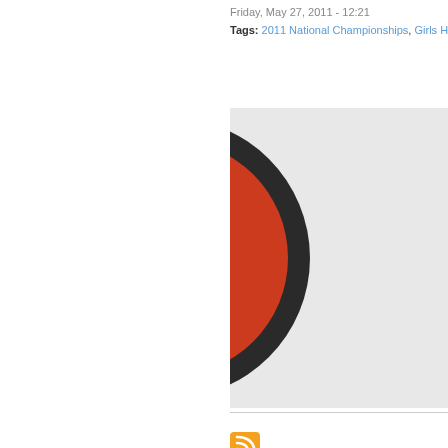Friday, May 27, 2011 - 12:21
Tags: 2011 National Championships, Girls Hockey,
[Figure (photo): Partial view of a hockey puck or disc, showing a red and black circular object, clipped on the left edge, against a light gray background]
[Figure (logo): RSS feed icon - orange rounded square with white RSS signal waves symbol]